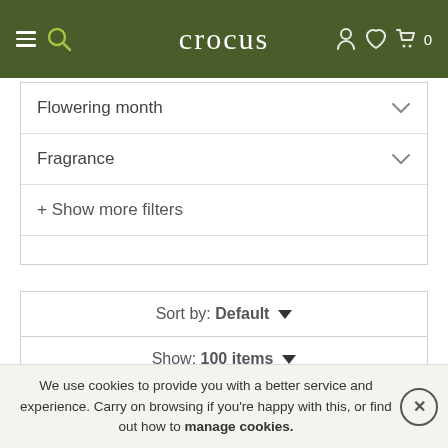crocus
Flowering month
Fragrance
+ Show more filters
Sort by: Default
Show: 100 items
25% OFF
[Figure (photo): Green plant/flower product photo strip]
We use cookies to provide you with a better service and experience. Carry on browsing if you're happy with this, or find out how to manage cookies.